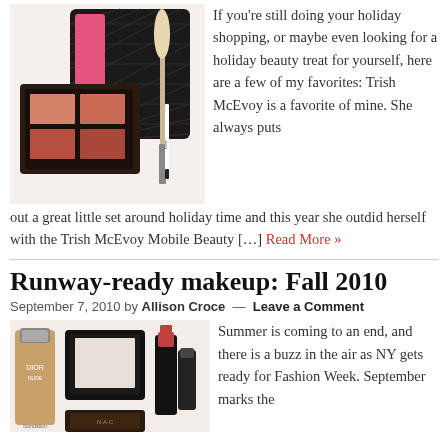[Figure (photo): Makeup palette, quilted black cosmetic bag, blush, lip products and makeup brush arranged together for holiday beauty collection]
If you're still doing your holiday shopping, or maybe even looking for a holiday beauty treat for yourself, here are a few of my favorites: Trish McEvoy is a favorite of mine. She always puts out a great little set around holiday time and this year she outdid herself with the Trish McEvoy Mobile Beauty […]
Read More »
Runway-ready makeup: Fall 2010
September 7, 2010 by Allison Croce — Leave a Comment
[Figure (photo): Dior foundation bottle, black compact powder, MAC lipstick and concealer, and other makeup products for fall runway looks]
Summer is coming to an end, and there is a buzz in the air as NY gets ready for Fashion Week. September marks the